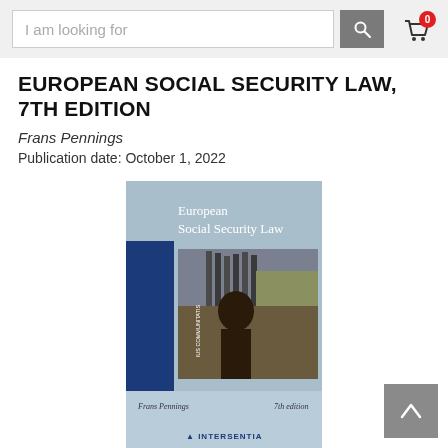[Figure (screenshot): Search bar with text 'I am looking for', a grey search button with magnifying glass icon, and a shopping cart icon with red badge showing '0']
EUROPEAN SOCIAL SECURITY LAW, 7TH EDITION
Frans Pennings
Publication date: October 1, 2022
[Figure (photo): Book cover of 'European Social Security Law' by Frans Pennings, 7th edition, published by Intersentia. The cover has a light blue background with white title text at top, a painting of a historical figure with organ pipes, a blue vertical band on the left with series information, and the Intersentia logo at the bottom.]